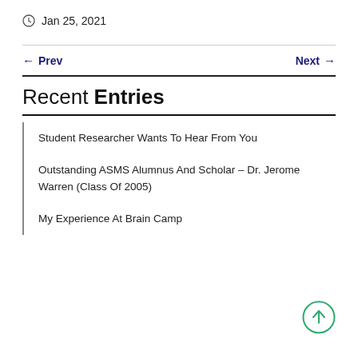Jan 25, 2021
← Prev
Next →
Recent Entries
Student Researcher Wants To Hear From You
Outstanding ASMS Alumnus And Scholar – Dr. Jerome Warren (Class Of 2005)
My Experience At Brain Camp